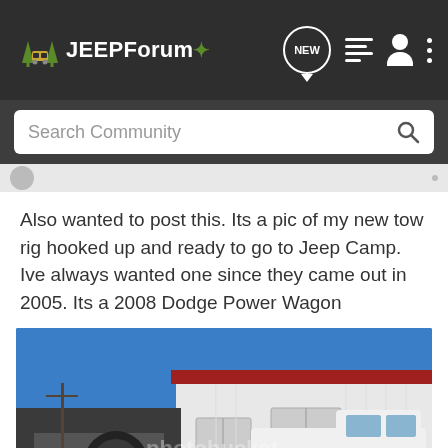JEEPForum
Search Community
Also wanted to post this. Its a pic of my new tow rig hooked up and ready to go to Jeep Camp. Ive always wanted one since they came out in 2005. Its a 2008 Dodge Power Wagon
[Figure (photo): A white 2008 Dodge Power Wagon truck towing a Jeep on a trailer, parked in front of a white metal building with red roof trim, under a blue sky.]